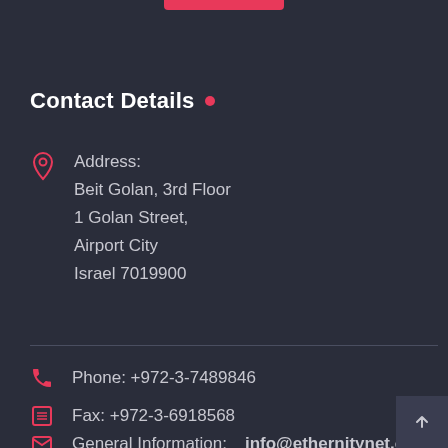[Figure (other): Pink/red button or tab at the top center of the dark page]
Contact Details
Address:
Beit Golan, 3rd Floor
1 Golan Street,
Airport City
Israel 7019900
Phone: +972-3-7489846
Fax: +972-3-6918568
General Information: info@ethernitynet.com